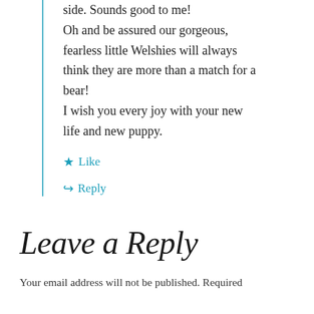side. Sounds good to me! Oh and be assured our gorgeous, fearless little Welshies will always think they are more than a match for a bear! I wish you every joy with your new life and new puppy.
Like
Reply
Leave a Reply
Your email address will not be published. Required